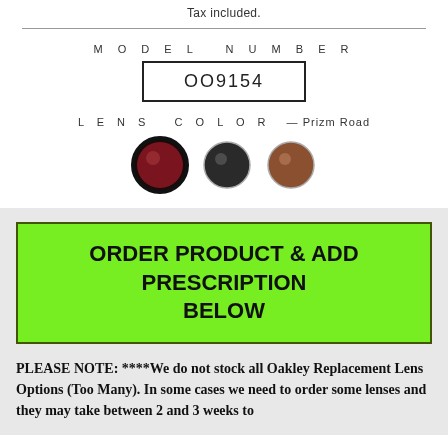Tax included.
MODEL NUMBER
OO9154
LENS COLOR — Prizm Road
[Figure (illustration): Three circular lens color swatches: first has dark red/maroon color with thick black border (selected), second has dark gray/black color with thin border, third has brown/tan color with thin border.]
ORDER PRODUCT & ADD PRESCRIPTION BELOW
PLEASE NOTE: ****We do not stock all Oakley Replacement Lens Options (Too Many). In some cases we need to order some lenses and they may take between 2 and 3 weeks to